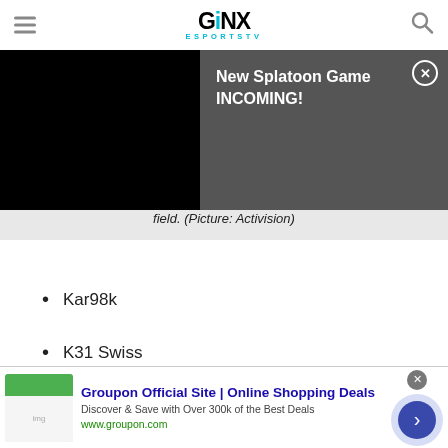GINX ESPORTS TV
[Figure (screenshot): Notification overlay on GINX Esports TV website showing black video area on left and dark gray panel on right with text 'New Splatoon Game INCOMING!' and close button]
as in the right hands you will not want to walk around any open field. (Picture: Activision)
Kar98k
K31 Swiss
HDR
[Figure (screenshot): Groupon advertisement banner at bottom: 'Groupon Official Site | Online Shopping Deals - Discover & Save with Over 300k of the Best Deals - www.groupon.com']